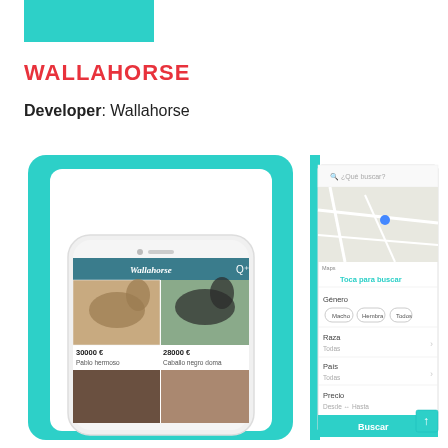[Figure (screenshot): Teal/cyan rectangular logo block at top left]
WALLAHORSE
Developer: Wallahorse
[Figure (screenshot): Two mobile app screenshots of Wallahorse app showing horse listings with prices (30000€ Pablo hermoso, 28000€ Caballo negro doma) and a search/filter screen with map, gender filter (Macho, Hembra, Todos), Raza, Pais, Precio fields and Buscar button]